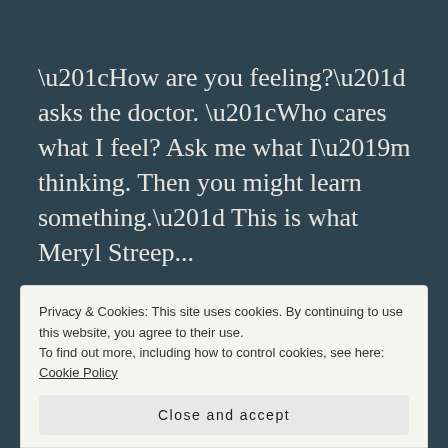“How are you feeling?” asks the doctor. “Who cares what I feel? Ask me what I’m thinking. Then you might learn something.” This is what Meryl Streep...
READ MORE →
Privacy & Cookies: This site uses cookies. By continuing to use this website, you agree to their use.
To find out more, including how to control cookies, see here: Cookie Policy
Close and accept